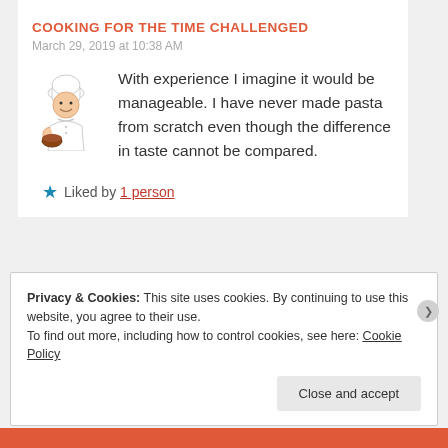COOKING FOR THE TIME CHALLENGED
March 29, 2019 at 10:38 AM
[Figure (illustration): Chef illustration — cartoon chef in white uniform and tall hat, holding a bowl]
With experience I imagine it would be manageable. I have never made pasta from scratch even though the difference in taste cannot be compared.
★ Liked by 1 person
Privacy & Cookies: This site uses cookies. By continuing to use this website, you agree to their use.
To find out more, including how to control cookies, see here: Cookie Policy
Close and accept